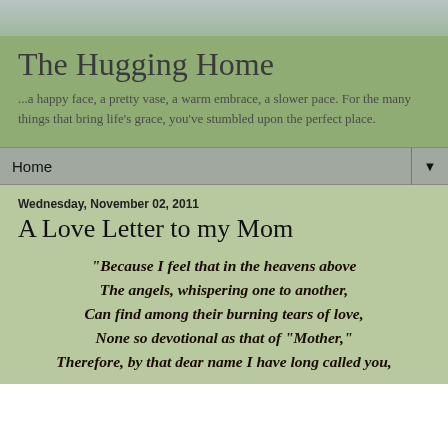The Hugging Home
...a happy face, a pretty vase, a warm embrace, a slower pace. For the many things that bring life's grace, you've stumbled upon the perfect place.
Home
Wednesday, November 02, 2011
A Love Letter to my Mom
"Because I feel that in the heavens above The angels, whispering one to another, Can find among their burning tears of love, None so devotional as that of "Mother," Therefore, by that dear name I have long called you,